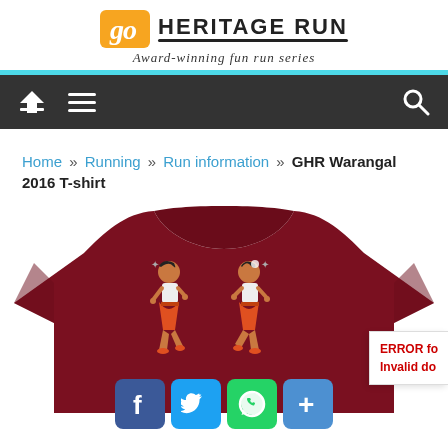[Figure (logo): Go Heritage Run logo — orange rounded rectangle with 'go' in italic white text, followed by 'HERITAGE RUN' in bold uppercase with a horizontal underline, and tagline 'Award-winning fun run series' below]
[Figure (screenshot): Dark navigation bar with home icon, hamburger menu icon, and search icon]
Home » Running » Run information » GHR Warangal 2016 T-shirt
[Figure (photo): Dark red/maroon T-shirt with two cartoon dancers printed on the front, showing traditional Indian dance moves]
[Figure (infographic): Social share buttons: Facebook (f), Twitter (bird), WhatsApp (phone), and a plus (+) button. Also an error box showing 'ERROR fo... Invalid do...']